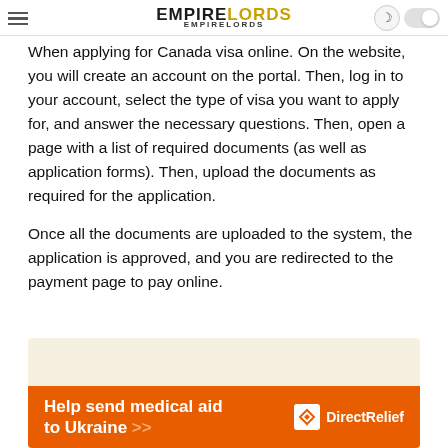EMPIRELORDS - EMPIRELORDS
When applying for Canada visa online. On the website, you will create an account on the portal. Then, log in to your account, select the type of visa you want to apply for, and answer the necessary questions. Then, open a page with a list of required documents (as well as application forms). Then, upload the documents as required for the application.
Once all the documents are uploaded to the system, the application is approved, and you are redirected to the payment page to pay online.
[Figure (infographic): Orange advertisement banner for Direct Relief charity - 'Help send medical aid to Ukraine >>' with Direct Relief logo on beige/cream background]